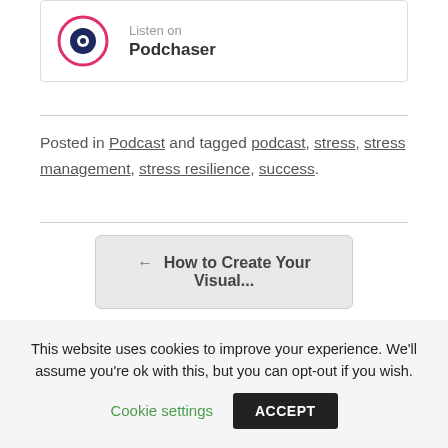[Figure (logo): Podchaser logo with circular icon and 'Listen on Podchaser' text]
Posted in Podcast and tagged podcast, stress, stress management, stress resilience, success.
← How to Create Your Visual...
This website uses cookies to improve your experience. We'll assume you're ok with this, but you can opt-out if you wish.
Cookie settings   ACCEPT